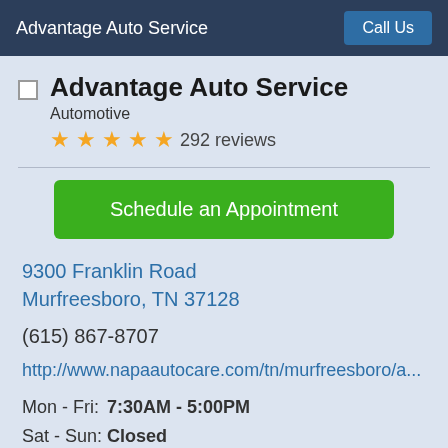Advantage Auto Service | Call Us
Advantage Auto Service
Automotive
★★★★★ 292 reviews
Schedule an Appointment
9300 Franklin Road
Murfreesboro, TN 37128
(615) 867-8707
http://www.napaautocare.com/tn/murfreesboro/a...
Mon - Fri:  7:30AM - 5:00PM
Sat - Sun:  Closed
$20.95 Oil Change Coupon